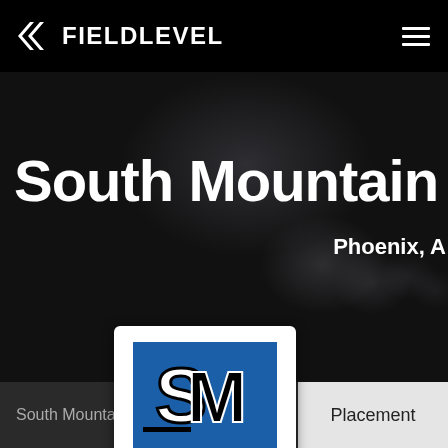FIELDLEVEL
South Mountain Co
Phoenix, A
[Figure (logo): South Mountain Community College SM logo on blue background with white border card]
Placement
Recruitme
South Mountain